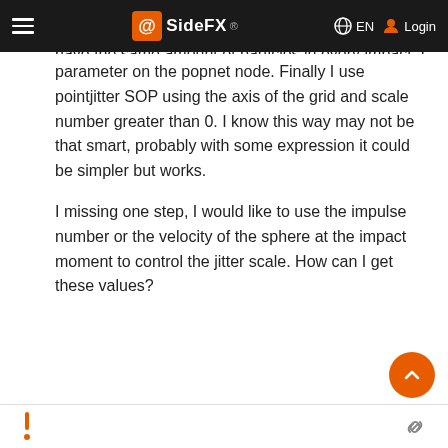SideFX – EN Login
have the same amount of particles in every impact. I use the same number of max particles parameter on the popnet node. Finally I use pointjitter SOP using the axis of the grid and scale number greater than 0. I know this way may not be that smart, probably with some expression it could be simpler but works.
I missing one step, I would like to use the impulse number or the velocity of the sphere at the impact moment to control the jitter scale. How can I get these values?